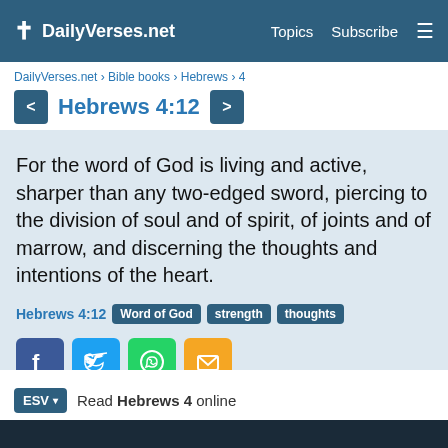✝ DailyVerses.net   Topics   Subscribe
DailyVerses.net › Bible books › Hebrews › 4
Hebrews 4:12
For the word of God is living and active, sharper than any two-edged sword, piercing to the division of soul and of spirit, of joints and of marrow, and discerning the thoughts and intentions of the heart.
Hebrews 4:12  Word of God  strength  thoughts
ESV ▾   Read Hebrews 4 online